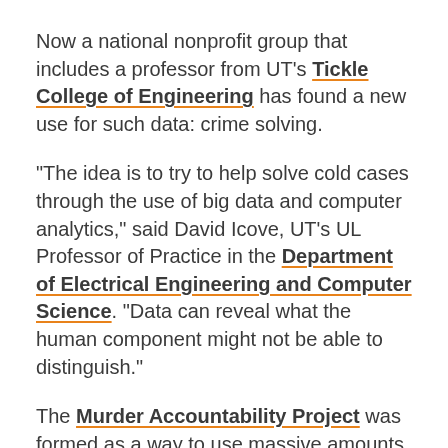Now a national nonprofit group that includes a professor from UT's Tickle College of Engineering has found a new use for such data: crime solving.
“The idea is to try to help solve cold cases through the use of big data and computer analytics,” said David Icove, UT’s UL Professor of Practice in the Department of Electrical Engineering and Computer Science. “Data can reveal what the human component might not be able to distinguish.”
The Murder Accountability Project was formed as a way to use massive amounts of data to find patterns and predict